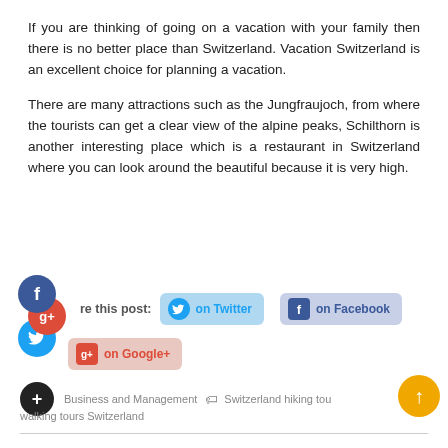If you are thinking of going on a vacation with your family then there is no better place than Switzerland. Vacation Switzerland is an excellent choice for planning a vacation.
There are many attractions such as the Jungfraujoch, from where the tourists can get a clear view of the alpine peaks, Schilthorn is another interesting place which is a restaurant in Switzerland where you can look around the beautiful because it is very high.
[Figure (infographic): Social sharing icons (Facebook, Google+, Twitter) stacked, and share buttons for Twitter, Facebook, Google+]
Business and Management   Switzerland hiking tou  walking tours Switzerland